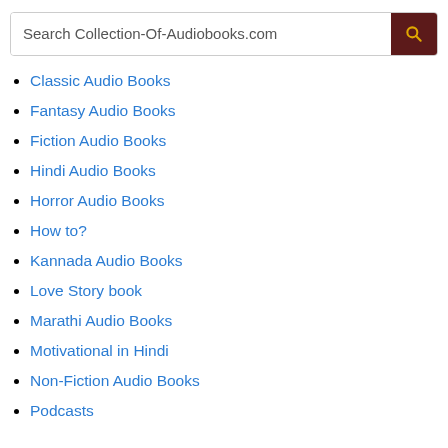Search Collection-Of-Audiobooks.com
Classic Audio Books
Fantasy Audio Books
Fiction Audio Books
Hindi Audio Books
Horror Audio Books
How to?
Kannada Audio Books
Love Story book
Marathi Audio Books
Motivational in Hindi
Non-Fiction Audio Books
Podcasts